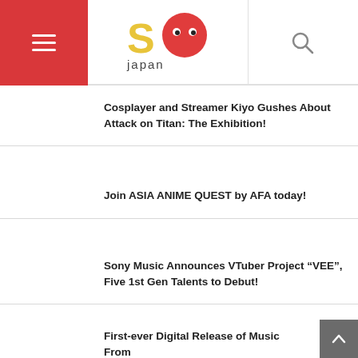SO Japan
Cosplayer and Streamer Kiyo Gushes About Attack on Titan: The Exhibition!
Join ASIA ANIME QUEST by AFA today!
Sony Music Announces VTuber Project “VEE”, Five 1st Gen Talents to Debut!
First-ever Digital Release of Music From